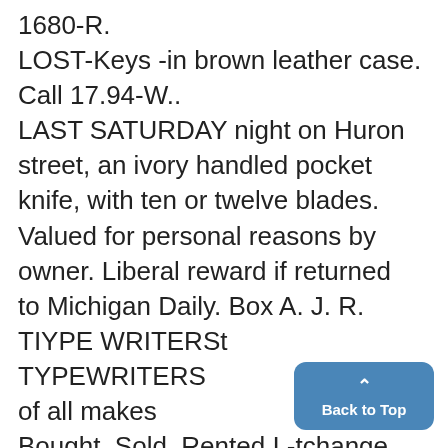1680-R.
LOST-Keys -in brown leather case. Call 17.94-W..
LAST SATURDAY night on Huron street, an ivory handled pocket knife, with ten or twelve blades. Valued for personal reasons by owner. Liberal reward if returned to Michigan Daily. Box A. J. R.
TIYPE WRITERSt
TYPEWRITERS
of all makes
Bought, Sold, Rented I -tchange Cleaned and Repaired.